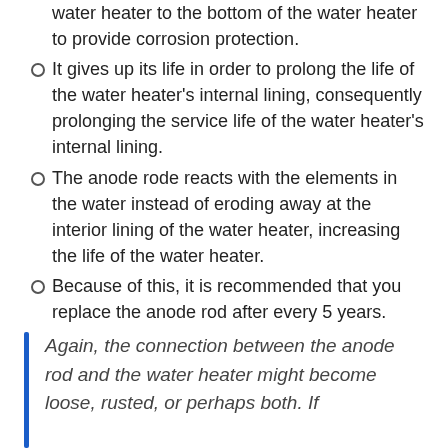water heater to the bottom of the water heater to provide corrosion protection.
It gives up its life in order to prolong the life of the water heater's internal lining, consequently prolonging the service life of the water heater's internal lining.
The anode rode reacts with the elements in the water instead of eroding away at the interior lining of the water heater, increasing the life of the water heater.
Because of this, it is recommended that you replace the anode rod after every 5 years.
Again, the connection between the anode rod and the water heater might become loose, rusted, or perhaps both. If